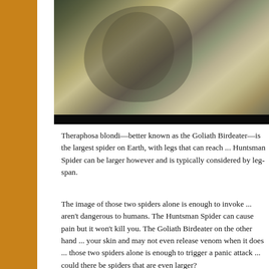[Figure (photo): Close-up illustration or photo of a large spider (Goliath Birdeater or similar), showing detailed hair/fur texture, against a dark background with some foliage.]
Theraphosa blondi—better known as the Goliath Birdeater—is the largest spider on Earth, with legs that can reach ... Huntsman Spider can be larger however and is typically considered by leg-span.
The image of those two spiders alone is enough to invoke ... aren't dangerous to humans. The Huntsman Spider can cause pain but it won't kill you. The Goliath Birdeater on the other hand ... your skin and may not even release venom when it does ... those two spiders alone is enough to trigger a panic attack ... could there be spiders that are even larger?
Earth's a mysterious place. Each year, we discover many ... plants, which is a good reminder that we don't know anything ... think we do about our home. Coupled with the history of ...